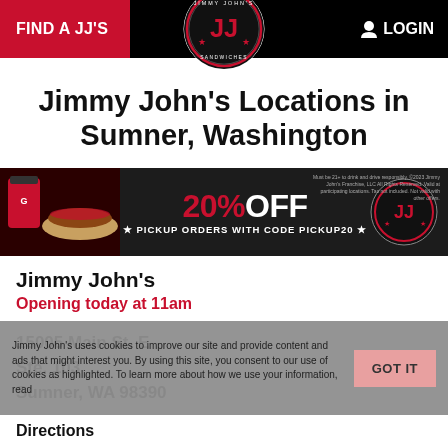FIND A JJ'S | LOGIN
Jimmy John's Locations in Sumner, Washington
[Figure (infographic): 20% OFF pickup orders with code PICKUP20 promotional banner with Jimmy John's logo and food images]
Jimmy John's
Opening today at 11am
15005 Main St. E
Ste. 103
Sumner, WA 98390
Jimmy John's uses cookies to improve our site and provide content and ads that might interest you. By using this site, you consent to our use of cookies as highlighted. To learn more about how we use your information, read GOT IT
Directions